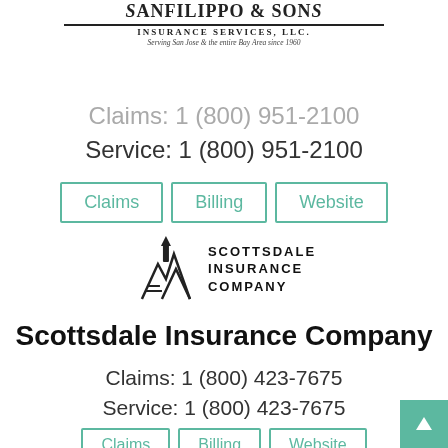[Figure (logo): Sanfilippo & Sons Insurance Services, LLC logo with tagline 'Serving San Jose & the entire Bay Area since 1960']
Claims: 1 (800) 951-2100
Service: 1 (800) 951-2100
Claims | Billing | Website
[Figure (logo): Scottsdale Insurance Company logo with mountain/peaks icon]
Scottsdale Insurance Company
Claims: 1 (800) 423-7675
Service: 1 (800) 423-7675
Claims | Billing | Website